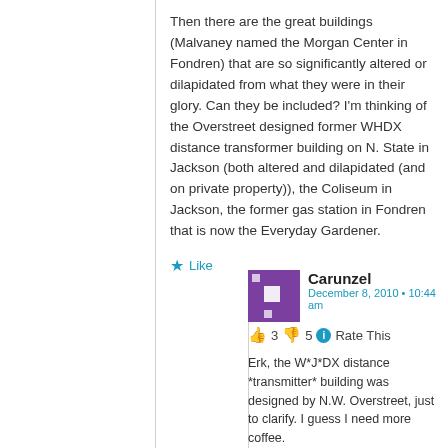Then there are the great buildings (Malvaney named the Morgan Center in Fondren) that are so significantly altered or dilapidated from what they were in their glory. Can they be included? I'm thinking of the Overstreet designed former WHDX distance transformer building on N. State in Jackson (both altered and dilapidated (and on private property)), the Coliseum in Jackson, the former gas station in Fondren that is now the Everyday Gardener.
★ Like
Carunzel
December 8, 2010 • 10:44 am
👍 3 👎 5 ℹ Rate This
Erk, the W*J*DX distance *transmitter* building was designed by N.W. Overstreet, just to clarify. I guess I need more coffee.
★ Like